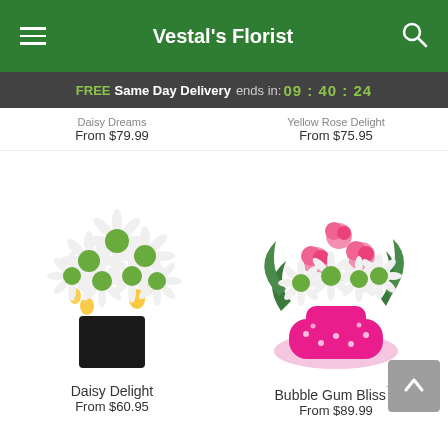Vestal's Florist
FREE Same Day Delivery ends in: 09:40:24
Daisy Dreams From $79.99
Yellow Rose Delight From $75.95
[Figure (photo): Daisy Delight flower arrangement: white daisies with yellow accents in a black square vase]
[Figure (photo): Bubble Gum Bliss flower arrangement: pink roses and white daisies in a pink decorative shoe-shaped vase]
Daisy Delight From $60.95
Bubble Gum Bliss™ From $89.99